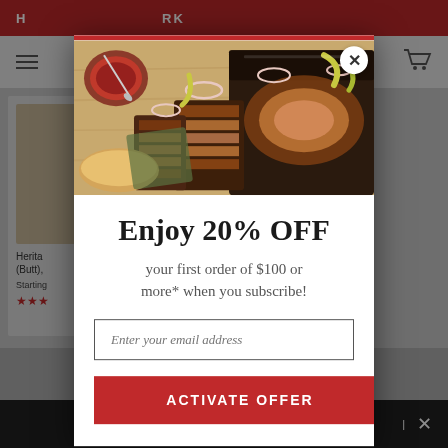[Figure (screenshot): Background of a BBQ/meat e-commerce website with red header bar, navigation bar with hamburger menu, product listing area showing heritage pork products, and dark bottom toolbar. The page is dimmed by a modal overlay.]
[Figure (photo): Photo of sliced BBQ brisket on a wooden cutting board with onions, pickled peppers, sauce in a small bowl, and garnishes.]
Enjoy 20% OFF
your first order of $100 or more* when you subscribe!
Enter your email address
ACTIVATE OFFER